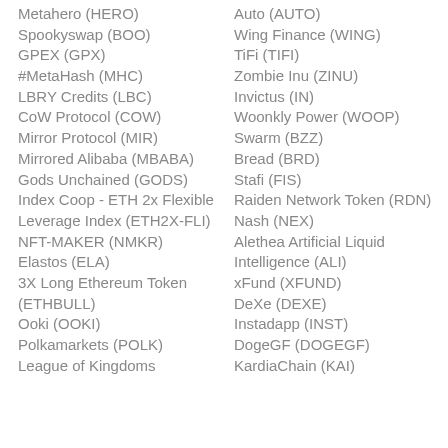Metahero (HERO)
Spookyswap (BOO)
GPEX (GPX)
#MetaHash (MHC)
LBRY Credits (LBC)
CoW Protocol (COW)
Mirror Protocol (MIR)
Mirrored Alibaba (MBABA)
Gods Unchained (GODS)
Index Coop - ETH 2x Flexible Leverage Index (ETH2X-FLI)
NFT-MAKER (NMKR)
Elastos (ELA)
3X Long Ethereum Token (ETHBULL)
Ooki (OOKI)
Polkamarkets (POLK)
League of Kingdoms
Auto (AUTO)
Wing Finance (WING)
TiFi (TIFI)
Zombie Inu (ZINU)
Invictus (IN)
Woonkly Power (WOOP)
Swarm (BZZ)
Bread (BRD)
Stafi (FIS)
Raiden Network Token (RDN)
Nash (NEX)
Alethea Artificial Liquid Intelligence (ALI)
xFund (XFUND)
DeXe (DEXE)
Instadapp (INST)
DogeGF (DOGEGF)
KardiaChain (KAI)